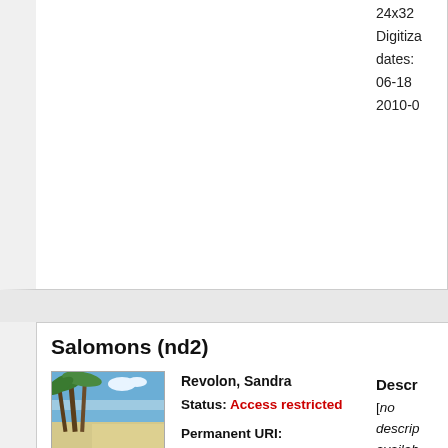24x32
Digitization dates:
06-18
2010-0
Salomons (nd2)
[Figure (photo): Thumbnail photo of a tropical beach with palm trees, white sand, and blue sky]
Revolon, Sandra
Status: Access restricted

Permanent URI:
https://www.odsas.net/set/493
Table of Contents
Descr
[no descri availab

Techn inform

Set(s):
Digitiz